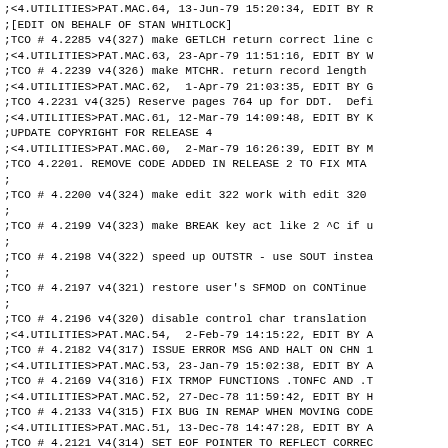;<4.UTILITIES>PAT.MAC.64, 13-Jun-79 15:20:34, EDIT BY R
;[EDIT ON BEHALF OF STAN WHITLOCK]
;TCO # 4.2285 v4(327) make GETLCH return correct line c
;<4.UTILITIES>PAT.MAC.63, 23-Apr-79 11:51:16, EDIT BY W
;TCO # 4.2239 v4(326) make MTCHR. return record length
;<4.UTILITIES>PAT.MAC.62,  1-Apr-79 21:03:35, EDIT BY G
;TCO 4.2231 v4(325) Reserve pages 764 up for DDT.  Defi
;<4.UTILITIES>PAT.MAC.61, 12-Mar-79 14:09:48, EDIT BY K
;UPDATE COPYRIGHT FOR RELEASE 4
;<4.UTILITIES>PAT.MAC.60,  2-Mar-79 16:26:39, EDIT BY M
;TCO 4.2201. REMOVE CODE ADDED IN RELEASE 2 TO FIX MTA
;<WHITLOCK..PA1050>PAT.MAC.59,  1-Mar-79 08:45:43, EDIT
;TCO # 4.2200 v4(324) make edit 322 work with edit 320
;<WHITLOCK..PA1050>PAT.MAC.58, 26-Feb-79 13:06:29, EDIT
;TCO # 4.2199 V4(323) make BREAK key act like 2 ^C if u
;<WHITLOCK..PA1050>PAT.MAC.57, 26-Feb-79 12:13:55, EDIT
;TCO # 4.2198 V4(322) speed up OUTSTR - use SOUT instea
;<WHITLOCK..PA1050>PAT.MAC.56, 26-Feb-79 11:44:22, EDIT
;TCO # 4.2197 v4(321) restore user's SFMOD on CONTinue
;<WHITLOCK..PA1050>PAT.MAC.55, 22-Feb-79 16:53:36, EDIT
;TCO # 4.2196 v4(320) disable control char translation
;<4.UTILITIES>PAT.MAC.54,  2-Feb-79 14:15:22, EDIT BY A
;TCO # 4.2182 V4(317) ISSUE ERROR MSG AND HALT ON CHN 1
;<4.UTILITIES>PAT.MAC.53, 23-Jan-79 15:02:38, EDIT BY A
;TCO # 4.2169 V4(316) FIX TRMOP FUNCTIONS .TONFC AND .T
;<4.UTILITIES>PAT.MAC.52, 27-Dec-78 11:59:42, EDIT BY H
;TCO # 4.2133 V4(315) FIX BUG IN REMAP WHEN MOVING CODE
;<4.UTILITIES>PAT.MAC.51, 13-Dec-78 14:47:28, EDIT BY A
;TCO # 4.2121 V4(314) SET EOF POINTER TO REFLECT CORREC
;<4.UTILITIES>PAT.MAC.50,  6-Dec-78 17:34:15,  EDIT BY